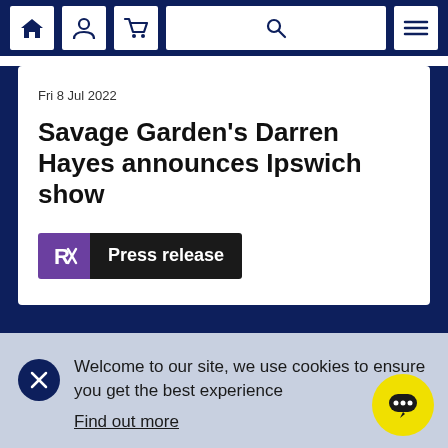[Figure (screenshot): Navigation bar with home, user, cart, search and hamburger menu icons on dark navy background]
Fri 8 Jul 2022
Savage Garden's Darren Hayes announces Ipswich show
[Figure (logo): Press release badge with purple icon and dark label reading 'Press release']
Welcome to our site, we use cookies to ensure you get the best experience
Find out more